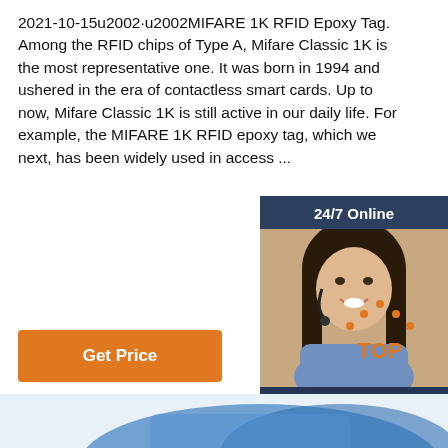2021-10-15u2002·u2002MIFARE 1K RFID Epoxy Tag. Among the RFID chips of Type A, Mifare Classic 1K is the most representative one. It was born in 1994 and ushered in the era of contactless smart cards. Up to now, Mifare Classic 1K is still active in our daily life. For example, the MIFARE 1K RFID epoxy tag, which we next, has been widely used in access ...
[Figure (other): Customer service representative with headset, overlaid with '24/7 Online' header, 'Click here for free chat!' text, and orange QUOTATION button on dark blue background]
Get Price
[Figure (logo): TOP icon with orange dot pattern above orange text 'TOP']
[Figure (photo): Partial blue object visible at bottom of page]